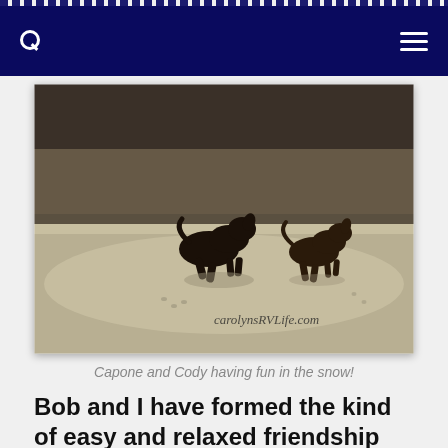Navigation bar with search and menu icons
[Figure (photo): Two dark-colored dogs running across a snowy sandy landscape with dry brush in the background. A watermark reads 'carolynsRVLife.com' in the lower portion of the image.]
Capone and Cody having fun in the snow!
Bob and I have formed the kind of easy and relaxed friendship that has been rare in my